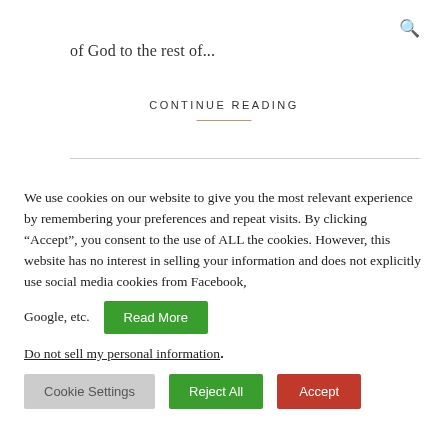of God to the rest of...
CONTINUE READING
We use cookies on our website to give you the most relevant experience by remembering your preferences and repeat visits. By clicking “Accept”, you consent to the use of ALL the cookies. However, this website has no interest in selling your information and does not explicitly use social media cookies from Facebook, Google, etc.
Do not sell my personal information.
Cookie Settings | Reject All | Accept